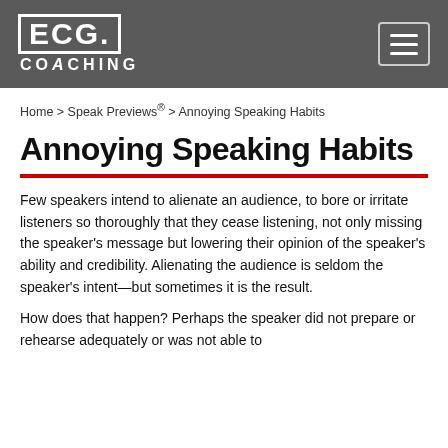ECG COACHING
Home > Speak Previews® > Annoying Speaking Habits
Annoying Speaking Habits
Few speakers intend to alienate an audience, to bore or irritate listeners so thoroughly that they cease listening, not only missing the speaker's message but lowering their opinion of the speaker's ability and credibility. Alienating the audience is seldom the speaker's intent—but sometimes it is the result.
How does that happen? Perhaps the speaker did not prepare or rehearse adequately or was not able to